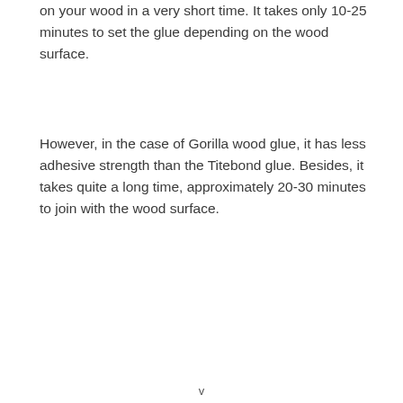on your wood in a very short time. It takes only 10-25 minutes to set the glue depending on the wood surface.
However, in the case of Gorilla wood glue, it has less adhesive strength than the Titebond glue. Besides, it takes quite a long time, approximately 20-30 minutes to join with the wood surface.
v